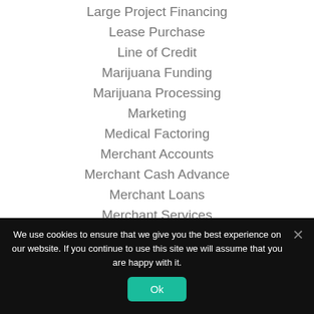Large Project Financing
Lease Purchase
Line of Credit
Marijuana Funding
Marijuana Processing
Marketing
Medical Factoring
Merchant Accounts
Merchant Cash Advance
Merchant Loans
Merchant Services
We use cookies to ensure that we give you the best experience on our website. If you continue to use this site we will assume that you are happy with it.